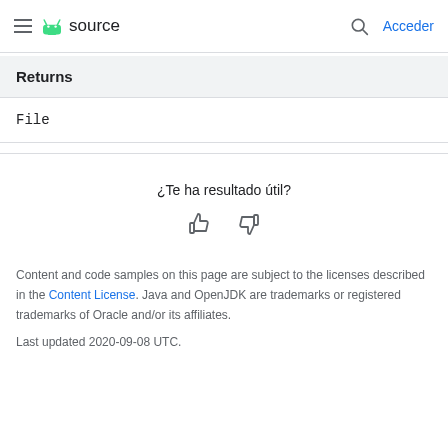Android source — Acceder
Returns
File
¿Te ha resultado útil?
Content and code samples on this page are subject to the licenses described in the Content License. Java and OpenJDK are trademarks or registered trademarks of Oracle and/or its affiliates.
Last updated 2020-09-08 UTC.